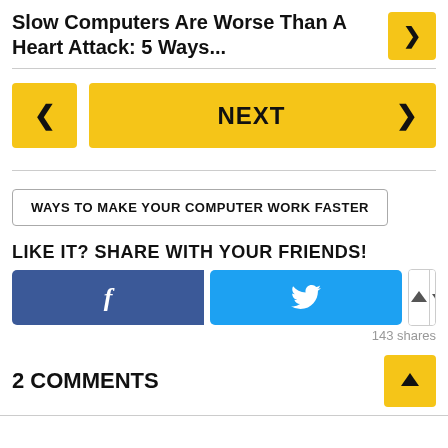Slow Computers Are Worse Than A Heart Attack: 5 Ways...
< NEXT >
WAYS TO MAKE YOUR COMPUTER WORK FASTER
LIKE IT? SHARE WITH YOUR FRIENDS!
143 shares
2 COMMENTS